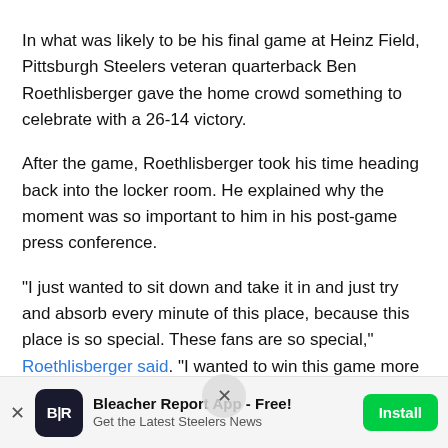In what was likely to be his final game at Heinz Field, Pittsburgh Steelers veteran quarterback Ben Roethlisberger gave the home crowd something to celebrate with a 26-14 victory.
After the game, Roethlisberger took his time heading back into the locker room. He explained why the moment was so important to him in his post-game press conference.
"I just wanted to sit down and take it in and just try and absorb every minute of this place, because this place is so special. These fans are so special," Roethlisberger said. "I wanted to win this game more than anything for them. Obviously, we still have another game, I know there's a slim chance, but we gotta keep fighting. But this game...
[Figure (other): Circular close/dismiss button overlay with an X symbol]
[Figure (other): Bleacher Report app advertisement banner with B/R logo icon, title 'Bleacher Report App - Free!', subtitle 'Get the Latest Steelers News', and a green Install button]